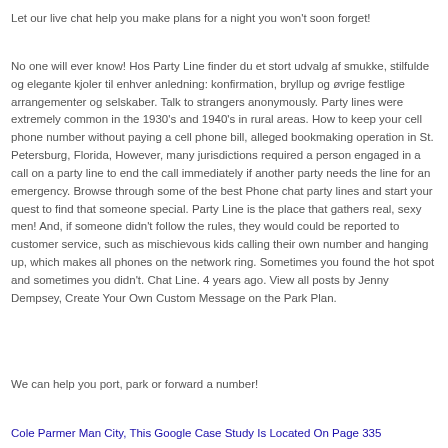Let our live chat help you make plans for a night you won't soon forget!
No one will ever know! Hos Party Line finder du et stort udvalg af smukke, stilfulde og elegante kjoler til enhver anledning: konfirmation, bryllup og øvrige festlige arrangementer og selskaber. Talk to strangers anonymously. Party lines were extremely common in the 1930's and 1940's in rural areas. How to keep your cell phone number without paying a cell phone bill, alleged bookmaking operation in St. Petersburg, Florida, However, many jurisdictions required a person engaged in a call on a party line to end the call immediately if another party needs the line for an emergency. Browse through some of the best Phone chat party lines and start your quest to find that someone special. Party Line is the place that gathers real, sexy men! And, if someone didn't follow the rules, they would could be reported to customer service, such as mischievous kids calling their own number and hanging up, which makes all phones on the network ring. Sometimes you found the hot spot and sometimes you didn't. Chat Line. 4 years ago. View all posts by Jenny Dempsey, Create Your Own Custom Message on the Park Plan.
We can help you port, park or forward a number!
Cole Parmer Man City, This Google Case Study Is Located On Page 335